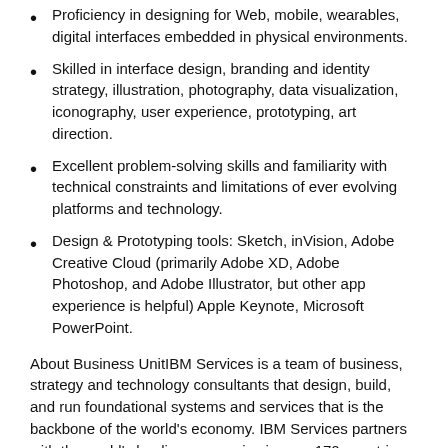Proficiency in designing for Web, mobile, wearables, digital interfaces embedded in physical environments.
Skilled in interface design, branding and identity strategy, illustration, photography, data visualization, iconography, user experience, prototyping, art direction.
Excellent problem-solving skills and familiarity with technical constraints and limitations of ever evolving platforms and technology.
Design & Prototyping tools: Sketch, inVision, Adobe Creative Cloud (primarily Adobe XD, Adobe Photoshop, and Adobe Illustrator, but other app experience is helpful) Apple Keynote, Microsoft PowerPoint.
About Business UnitIBM Services is a team of business, strategy and technology consultants that design, build, and run foundational systems and services that is the backbone of the world's economy. IBM Services partners with the world's leading companies in over 170 countries to build smarter businesses by